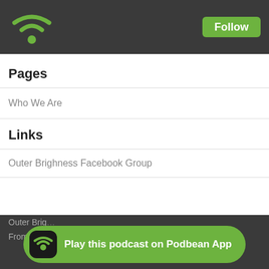Podbean logo and Follow button
Pages
Who We Are
Links
Outer Brighness Facebook Group
Outer Brig…
From Wate…
[Figure (infographic): Play this podcast on Podbean App banner with green background and Podbean icon]